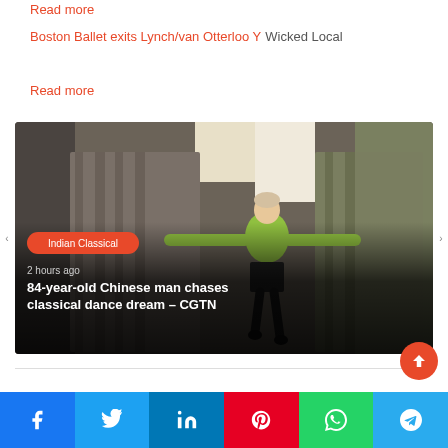Read more
Boston Ballet exits Lynch/van Otterloo Y  Wicked Local
Read more
[Figure (photo): An elderly man in a green t-shirt and black shorts performing a classical dance pose with arms extended, indoors with grey curtains in the background. An orange 'Indian Classical' category badge and '2 hours ago' timestamp overlay the image, along with the title '84-year-old Chinese man chases classical dance dream – CGTN']
84-year-old Chinese man chases classical dance dream – CGTN
Facebook  Twitter  LinkedIn  Pinterest  WhatsApp  Telegram